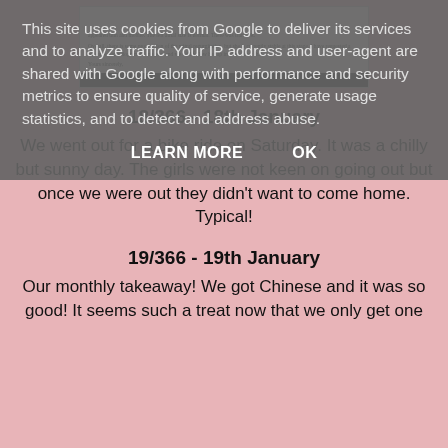This site uses cookies from Google to deliver its services and to analyze traffic. Your IP address and user-agent are shared with Google along with performance and security metrics to ensure quality of service, generate usage statistics, and to detect and address abuse.
LEARN MORE   OK
[Figure (photo): Partial view of a medical letter with small text, bottom part visible, with a dark bar at the bottom.]
18/366 - 18th January
We went out for a bike ride on Saturday. It was a chilly but sunny day. The girls were not keen on going out but once we were out they didn't want to come home. Typical!
19/366 - 19th January
Our monthly takeaway! We got Chinese and it was so good! It seems such a treat now that we only get one